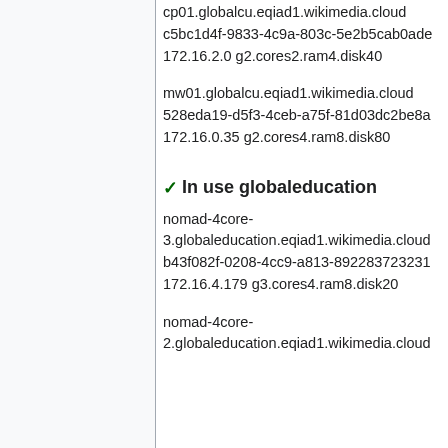cp01.globalcu.eqiad1.wikimedia.cloud c5bc1d4f-9833-4c9a-803c-5e2b5cab0ade 172.16.2.0 g2.cores2.ram4.disk40
mw01.globalcu.eqiad1.wikimedia.cloud 528eda19-d5f3-4ceb-a75f-81d03dc2be8a 172.16.0.35 g2.cores4.ram8.disk80
✓ In use globaleducation
nomad-4core-3.globaleducation.eqiad1.wikimedia.cloud b43f082f-0208-4cc9-a813-892283723231 172.16.4.179 g3.cores4.ram8.disk20
nomad-4core-2.globaleducation.eqiad1.wikimedia.cloud